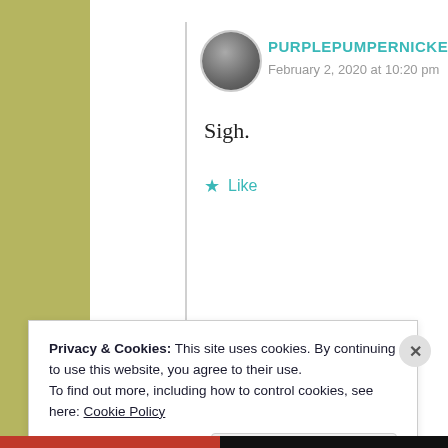PURPLEPUMPERNICKEL
February 2, 2020 at 10:20 pm
Sigh.
Like
Privacy & Cookies: This site uses cookies. By continuing to use this website, you agree to their use.
To find out more, including how to control cookies, see here: Cookie Policy